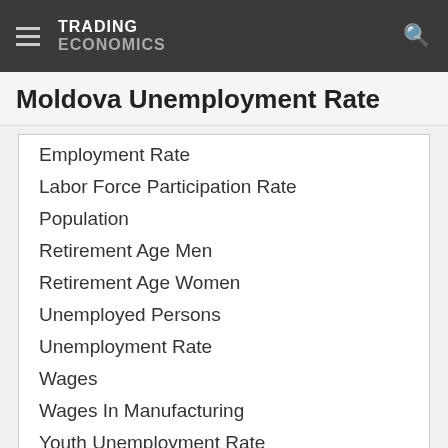TRADING ECONOMICS
Moldova Unemployment Rate
Employment Rate
Labor Force Participation Rate
Population
Retirement Age Men
Retirement Age Women
Unemployed Persons
Unemployment Rate
Wages
Wages In Manufacturing
Youth Unemployment Rate
Prices
Health
Money